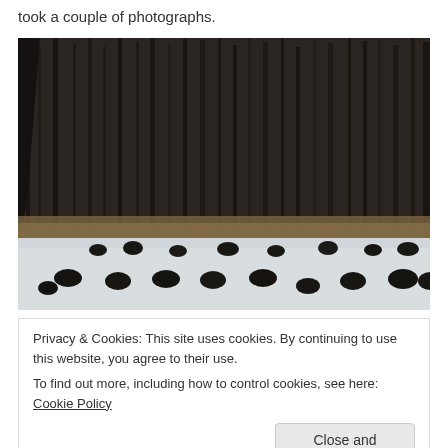took a couple of photographs.
[Figure (photo): A flock of dark-colored birds (turkeys) foraging on a snow-covered field in front of a dense stand of bare deciduous trees in winter.]
Privacy & Cookies: This site uses cookies. By continuing to use this website, you agree to their use.
To find out more, including how to control cookies, see here: Cookie Policy
Close and accept